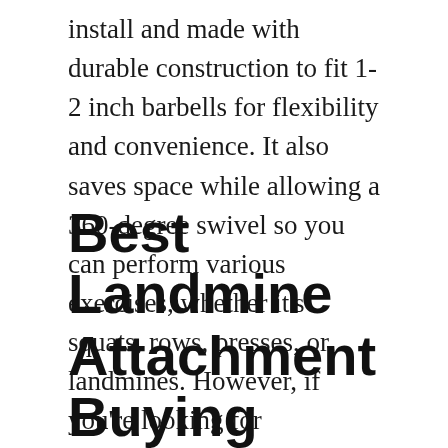install and made with durable construction to fit 1-2 inch barbells for flexibility and convenience. It also saves space while allowing a 360-degree swivel so you can perform various exercises, whether it's squats, rows, presses, or landmines. However, if you're looking for portability, you can also consider the Yes4All T-Bar Row Plate Post Insert, which you can easily store at home or bring with you to install in gyms easily or when traveling.
Best Landmine Attachment Buying